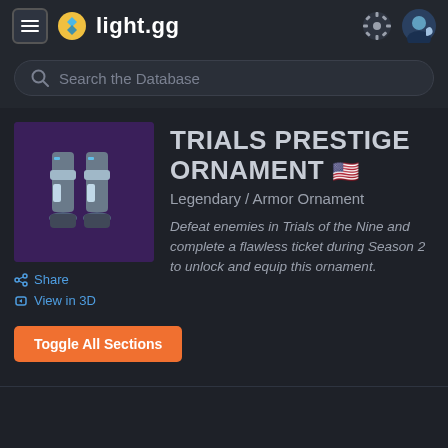light.gg
Search the Database
[Figure (screenshot): Item thumbnail: armored legs/boots ornament on purple background]
TRIALS PRESTIGE ORNAMENT 🇺🇸
Legendary / Armor Ornament
Defeat enemies in Trials of the Nine and complete a flawless ticket during Season 2 to unlock and equip this ornament.
Share
View in 3D
Toggle All Sections